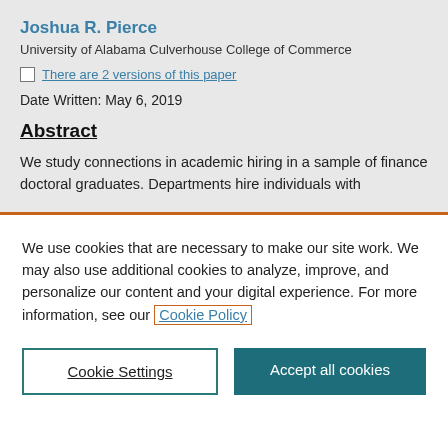Joshua R. Pierce
University of Alabama Culverhouse College of Commerce
There are 2 versions of this paper
Date Written: May 6, 2019
Abstract
We study connections in academic hiring in a sample of finance doctoral graduates. Departments hire individuals with
We use cookies that are necessary to make our site work. We may also use additional cookies to analyze, improve, and personalize our content and your digital experience. For more information, see our Cookie Policy
Cookie Settings
Accept all cookies